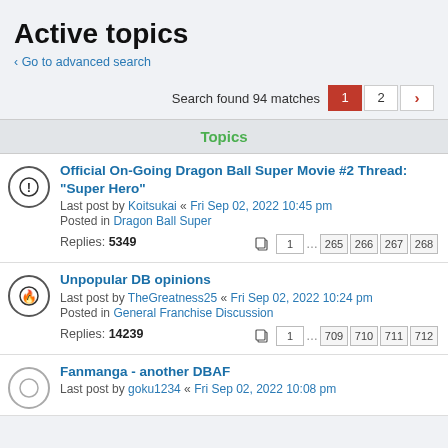Active topics
< Go to advanced search
Search found 94 matches  1  2  >
Topics
Official On-Going Dragon Ball Super Movie #2 Thread: "Super Hero"
Last post by Koitsukai « Fri Sep 02, 2022 10:45 pm
Posted in Dragon Ball Super
Replies: 5349  |  1 ... 265 266 267 268
Unpopular DB opinions
Last post by TheGreatness25 « Fri Sep 02, 2022 10:24 pm
Posted in General Franchise Discussion
Replies: 14239  |  1 ... 709 710 711 712
Fanmanga - another DBAF
Last post by goku1234 « Fri Sep 02, 2022 10:08 pm